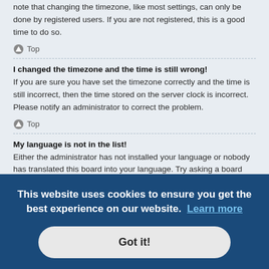note that changing the timezone, like most settings, can only be done by registered users. If you are not registered, this is a good time to do so.
Top
I changed the timezone and the time is still wrong!
If you are sure you have set the timezone correctly and the time is still incorrect, then the time stored on the server clock is incorrect. Please notify an administrator to correct the problem.
Top
My language is not in the list!
Either the administrator has not installed your language or nobody has translated this board into your language. Try asking a board administrator if they can install the language pack you need. If the language pack does not exist, feel free to create a new translation. More information can be found at the phpBB®
This website uses cookies to ensure you get the best experience on our website. Learn more
Got it!